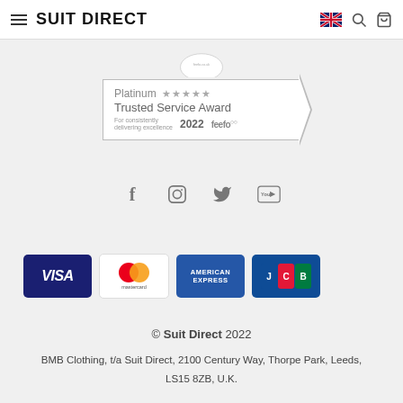SUIT DIRECT
[Figure (logo): Platinum Trusted Service Award 2022 feefo badge with 5 stars]
[Figure (illustration): Social media icons: Facebook, Instagram, Twitter, YouTube]
[Figure (illustration): Payment method logos: Visa, Mastercard, American Express, JCB]
© Suit Direct 2022
BMB Clothing, t/a Suit Direct, 2100 Century Way, Thorpe Park, Leeds, LS15 8ZB, U.K.